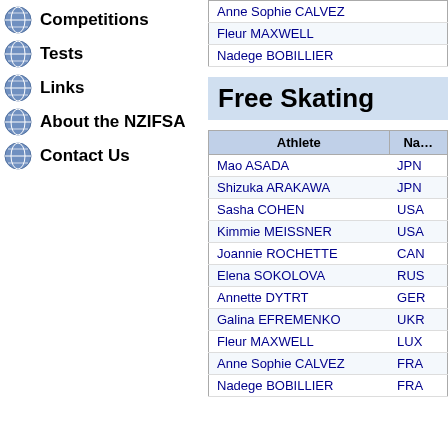Competitions
Tests
Links
About the NZIFSA
Contact Us
| Athlete | Na... |
| --- | --- |
| Anne Sophie CALVEZ |  |
| Fleur MAXWELL |  |
| Nadege BOBILLIER |  |
Free Skating
| Athlete | Na... |
| --- | --- |
| Mao ASADA | JPN |
| Shizuka ARAKAWA | JPN |
| Sasha COHEN | USA |
| Kimmie MEISSNER | USA |
| Joannie ROCHETTE | CAN |
| Elena SOKOLOVA | RUS |
| Annette DYTRT | GER |
| Galina EFREMENKO | UKR |
| Fleur MAXWELL | LUX |
| Anne Sophie CALVEZ | FRA |
| Nadege BOBILLIER | FRA |